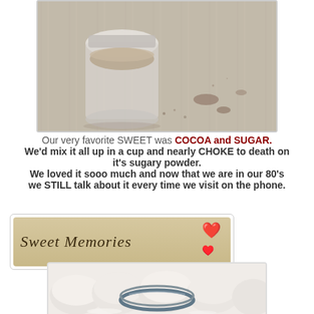[Figure (photo): A glass jar filled with cocoa and sugar powder on a wooden surface, with scattered powder nearby]
Our very favorite SWEET was COCOA and SUGAR. We'd mix it all up in a cup and nearly CHOKE to death on it's sugary powder. We loved it sooo much and now that we are in our 80's we STILL talk about it every time we visit on the phone.
[Figure (illustration): Sweet Memories label with cursive text on a burlap-style background and red heart emojis]
[Figure (photo): Unbaked biscuit dough rounds with a metal biscuit cutter on a floured surface]